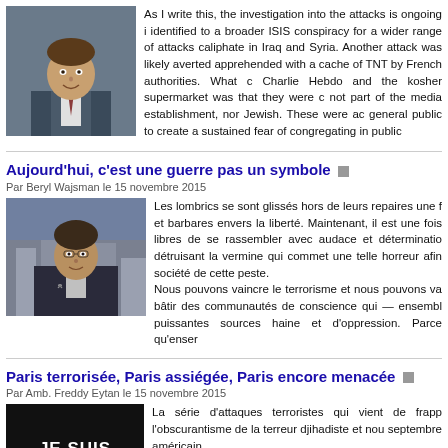[Figure (photo): Headshot of a man in suit and tie, smiling, professional photo]
As I write this, the investigation into the attacks is ongoing i identified to a broader ISIS conspiracy for a wider range of attacks caliphate in Iraq and Syria. Another attack was likely averted apprehended with a cache of TNT by French authorities. What c Charlie Hebdo and the kosher supermarket was that they were c not part of the media establishment, nor Jewish. These were ac general public to create a sustained fear of congregating in public
Aujourd'hui, c'est une guerre pas un symbole
Par Beryl Wajsman le 15 novembre 2015
[Figure (photo): Headshot of a man in dark jacket, appearing to speak, urban background]
Les lombrics se sont glissés hors de leurs repaires une f et barbares envers la liberté. Maintenant, il est une fois libres de se rassembler avec audace et déterminatio détruisant la vermine qui commet une telle horreur afin société de cette peste.
Nous pouvons vaincre le terrorisme et nous pouvons va bâtir des communautés de conscience qui — ensembl puissantes sources haine et d'oppression. Parce qu'enser
Paris terrorisée, Paris assiégée, Paris encore menacée
Par Amb. Freddy Eytan le 15 novembre 2015
[Figure (illustration): Black background with white bold text reading JE SUIS PARIS]
La série d'attaques terroristes qui vient de frapp l'obscurantisme de la terreur djihadiste et nou septembre américain.

Cette nouvelle vague était prévue car depuis le contre Charlie Hebdo et le super-casher, les a adopter des lois draconiennes contre le terrorism mais les effectifs et les budgets des forces
suffisamment et en priorité tous les services du Renseignement.